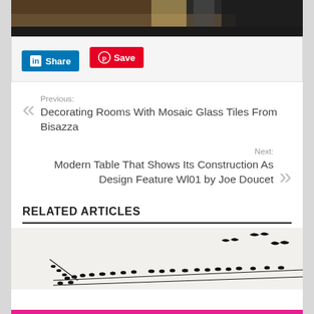[Figure (photo): Top portion of an interior room photo showing a wooden surface and dark floor/wall elements]
[Figure (infographic): LinkedIn Share button (blue) and Pinterest Save button (red)]
Previous: Decorating Rooms With Mosaic Glass Tiles From Bisazza
Next: Modern Table That Shows Its Construction As Design Feature Wl01 by Joe Doucet
RELATED ARTICLES
[Figure (photo): Silhouette illustration of birds perched on wires with birds flying above, on a light background]